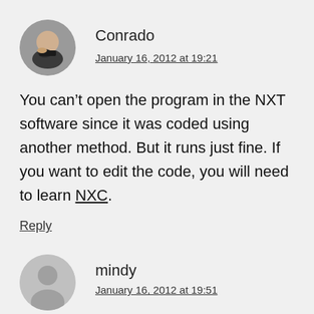[Figure (photo): Circular avatar photo of a man thinking, with hand on chin]
Conrado
January 16, 2012 at 19:21
You can't open the program in the NXT software since it was coded using another method. But it runs just fine. If you want to edit the code, you will need to learn NXC.
Reply
[Figure (illustration): Circular gray default avatar icon with silhouette of person]
mindy